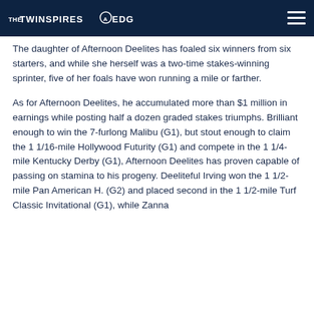THE TWINSPIRES EDGE
The daughter of Afternoon Deelites has foaled six winners from six starters, and while she herself was a two-time stakes-winning sprinter, five of her foals have won running a mile or farther.
As for Afternoon Deelites, he accumulated more than $1 million in earnings while posting half a dozen graded stakes triumphs. Brilliant enough to win the 7-furlong Malibu (G1), but stout enough to claim the 1 1/16-mile Hollywood Futurity (G1) and compete in the 1 1/4-mile Kentucky Derby (G1), Afternoon Deelites has proven capable of passing on stamina to his progeny. Deeliteful Irving won the 1 1/2-mile Pan American H. (G2) and placed second in the 1 1/2-mile Turf Classic Invitational (G1), while Zanna...